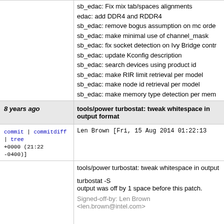sb_edac: Fix mix tab/spaces alignments
edac: add DDR4 and RDDR4
sb_edac: remove bogus assumption on mc order
sb_edac: make minimal use of channel_mask
sb_edac: fix socket detection on Ivy Bridge contr
sb_edac: update Kconfig description
sb_edac: search devices using product id
sb_edac: make RIR limit retrieval per model
sb_edac: make node id retrieval per model
sb_edac: make memory type detection per meme
8 years ago
tools/power turbostat: tweak whitespace in output format
commit | commitdiff | tree
Len Brown [Fri, 15 Aug 2014 01:22:13 +0000 (21:22 -0400)]
tools/power turbostat: tweak whitespace in output

turbostat -S
output was off by 1 space before this patch.

Signed-off-by: Len Brown <len.brown@intel.com>
8 years ago
intel_idle: Broadwell support
commit | commitdiff | tree
Len Brown [Wed, 5 Feb 2014 04:56:40 +0000 (23:56 -0500)]